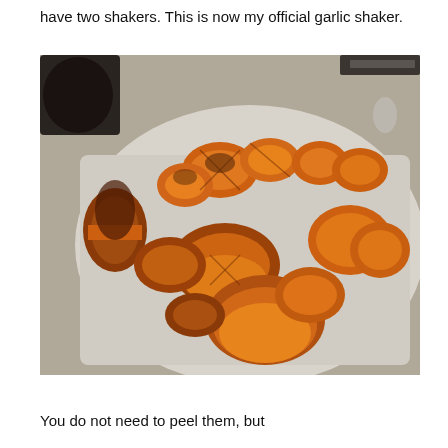have two shakers. This is now my official garlic shaker.
[Figure (photo): Chopped sweet potato pieces on a white cutting board, showing orange flesh, cut into wedge and half-moon shapes. A dark bowl and kitchen knife visible in background.]
You do not need to peel them, but